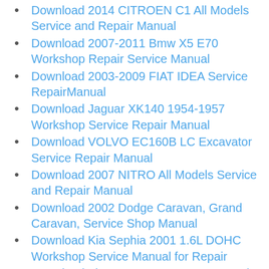Download 2014 CITROEN C1 All Models Service and Repair Manual
Download 2007-2011 Bmw X5 E70 Workshop Repair Service Manual
Download 2003-2009 FIAT IDEA Service RepairManual
Download Jaguar XK140 1954-1957 Workshop Service Repair Manual
Download VOLVO EC160B LC Excavator Service Repair Manual
Download 2007 NITRO All Models Service and Repair Manual
Download 2002 Dodge Caravan, Grand Caravan, Service Shop Manual
Download Kia Sephia 2001 1.6L DOHC Workshop Service Manual for Repair
Download Fiat Ducato 2.8 TD 2005 Service Repair Manual
Download 1997 GMC Jimmy Service & Repair